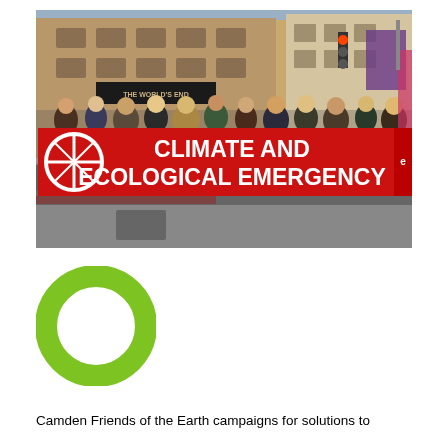[Figure (photo): Protesters marching in a street holding a large red banner reading 'CLIMATE AND ECOLOGICAL EMERGENCY'. An Extinction Rebellion symbol is visible on the left. Buildings and traffic lights are visible in the background.]
[Figure (logo): Friends of the Earth logo — a green circle ring (thick, rounded, open circle) in lime green color.]
Camden Friends of the Earth campaigns for solutions to